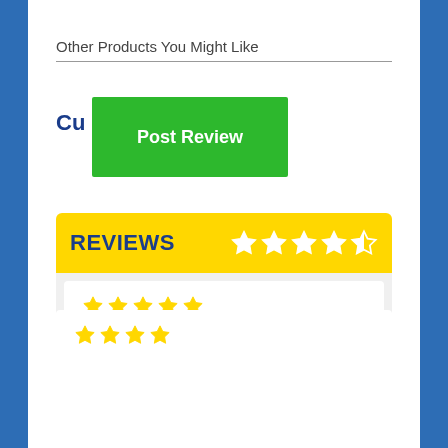Other Products You Might Like
Customer Reviews
Post Review
REVIEWS
[Figure (other): Star rating display showing 4.5 out of 5 stars in white on yellow background]
[Figure (other): 5 yellow stars rating for Tom Moore review]
Tom Moore
Great product which fits my car perfectly. Took just over a week to arrive from order, but would highly recommend for a nice refresh inside the car. - 9/10
19-Aug-22
[Figure (other): 5 yellow stars rating for second review (partially visible)]